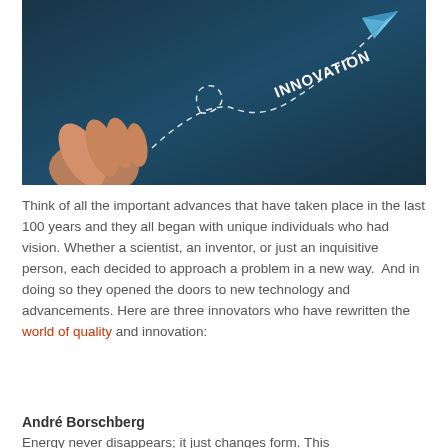[Figure (photo): Dark blue background photo with a hand launching a paper airplane. A dashed curved flight path leads to the text 'INNOVATION' in white letters, with a blue paper airplane in the upper right corner.]
Think of all the important advances that have taken place in the last 100 years and they all began with unique individuals who had vision. Whether a scientist, an inventor, or just an inquisitive person, each decided to approach a problem in a new way.  And in doing so they opened the doors to new technology and advancements. Here are three innovators who have rewritten the world of quality and innovation:
André Borschberg
Energy never disappears; it just changes form. This